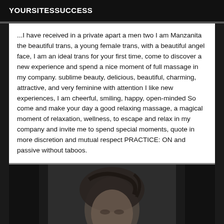YOURSITESSUCCESS
...I have received in a private apart a men two I am Manzanita the beautiful trans, a young female trans, with a beautiful angel face, I am an ideal trans for your first time, come to discover a new experience and spend a nice moment of full massage in my company. sublime beauty, delicious, beautiful, charming, attractive, and very feminine with attention I like new experiences, I am cheerful, smiling, happy, open-minded So come and make your day a good relaxing massage, a magical moment of relaxation, wellness, to escape and relax in my company and invite me to spend special moments, quote in more discretion and mutual respect PRACTICE: ON and passive without taboos.
[Figure (photo): Photo of a young woman with dark hair, partial face visible, dark background]